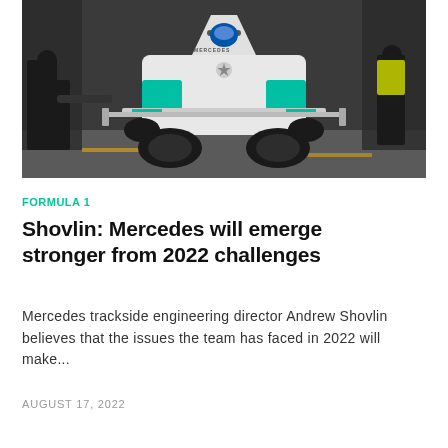[Figure (photo): Front-on view of a Mercedes F1 car in the pit lane being attended to by mechanics in black uniforms. The car is white and teal/turquoise colored, shot from a low angle showing the front wing and nose. Crew members visible on both sides. Yellow pit lane markings visible on the ground.]
FORMULA 1
Shovlin: Mercedes will emerge stronger from 2022 challenges
Mercedes trackside engineering director Andrew Shovlin believes that the issues the team has faced in 2022 will make...
AUGUST 17, 2022